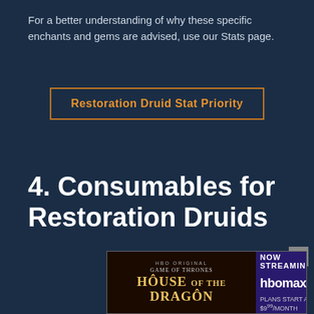For a better understanding of why these specific enchants and gems are advised, use our Stats page.
[Figure (other): Button link: Restoration Druid Stat Priority (orange text on dark background with orange border)]
4. Consumables for Restoration Druids
[Figure (other): Advertisement banner: HBO Original Game of Thrones - House of the Dragon, Now Streaming on HBOmax, Plans start at $9.99/month. With X close button.]